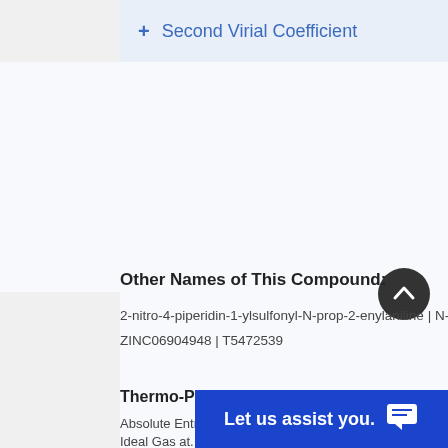+ Second Virial Coefficient
Other Names of This Compound:
2-nitro-4-piperidin-1-ylsulfonyl-N-prop-2-enylaniline | N-allyl-2
ZINC06904948 | T5472539
Thermo-Physico-Chemical Property Data Available
Absolute Entropy
Ideal Gas at...